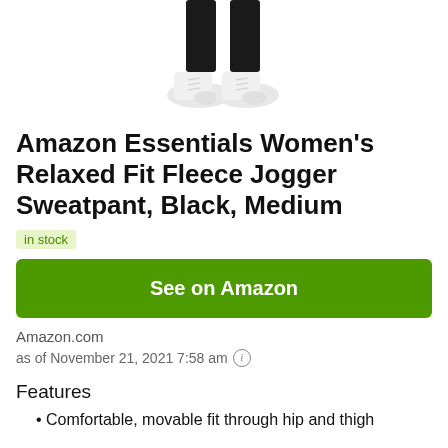[Figure (photo): Bottom portion of a person wearing black jogger sweatpants and white sneakers, shown from approximately the knee down]
Amazon Essentials Women's Relaxed Fit Fleece Jogger Sweatpant, Black, Medium
in stock
See on Amazon
Amazon.com
as of November 21, 2021 7:58 am
Features
Comfortable, movable fit through hip and thigh